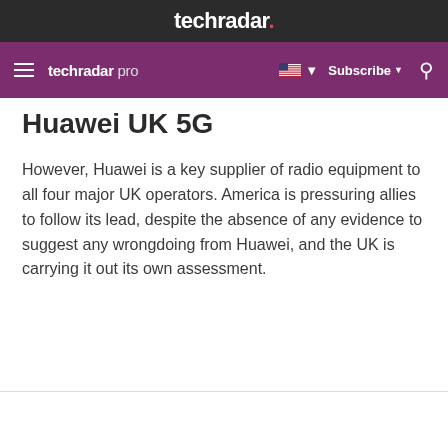techradar.
techradar pro  Subscribe
Huawei UK 5G
However, Huawei is a key supplier of radio equipment to all four major UK operators. America is pressuring allies to follow its lead, despite the absence of any evidence to suggest any wrongdoing from Huawei, and the UK is carrying it out its own assessment.